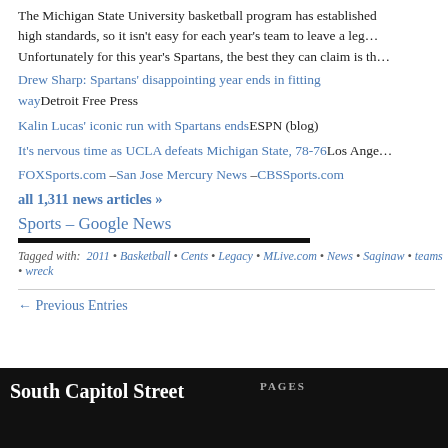The Michigan State University basketball program has established high standards, so it isn't easy for each year's team to leave a legacy. Unfortunately for this year's Spartans, the best they can claim is th…
Drew Sharp: Spartans' disappointing year ends in fitting wayDetroit Free Press
Kalin Lucas' iconic run with Spartans endsESPN (blog)
It's nervous time as UCLA defeats Michigan State, 78-76Los Angeles Times
FOXSports.com –San Jose Mercury News –CBSSports.com
all 1,311 news articles »
Sports – Google News
Tagged with: 2011 • Basketball • Cents • Legacy • MLive.com • News • Saginaw • teams • wreck
← Previous Entries
South Capitol Street   PAGES